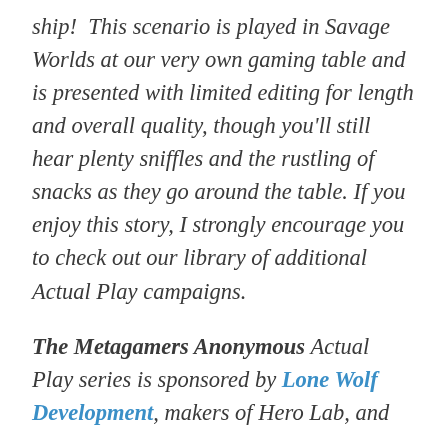ship!  This scenario is played in Savage Worlds at our very own gaming table and is presented with limited editing for length and overall quality, though you'll still hear plenty sniffles and the rustling of snacks as they go around the table. If you enjoy this story, I strongly encourage you to check out our library of additional Actual Play campaigns.
The Metagamers Anonymous Actual Play series is sponsored by Lone Wolf Development, makers of Hero Lab, and